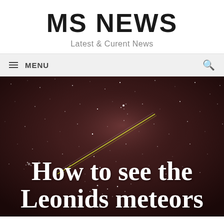MS NEWS
Latest & Curent News
≡ MENU
[Figure (photo): Night sky photograph showing stars, the Milky Way, and a bright meteor streak (Leonid meteor) cutting diagonally across the dark reddish-brown sky with visible star clusters]
How to see the Leonids meteors